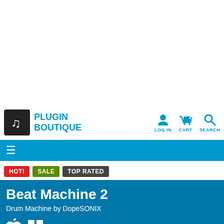[Figure (logo): Plugin Boutique logo with music note icon on dark background and blue text]
[Figure (infographic): Navigation icons for LOG IN, CART, and SEARCH in blue]
[Figure (infographic): Blue horizontal navigation menu bar with hamburger menu icon]
HOT! SALE TOP RATED
Beat Machine 2
Drum Machine by DopeSONIX
32-bit / 64-bit